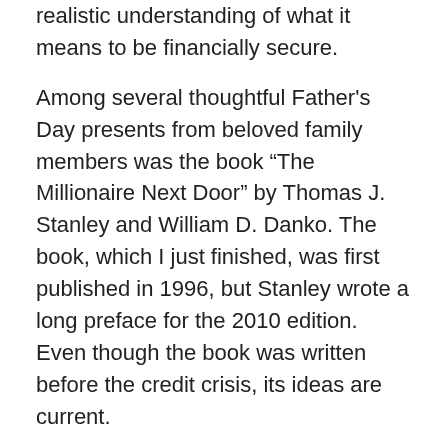realistic understanding of what it means to be financially secure.
Among several thoughtful Father's Day presents from beloved family members was the book “The Millionaire Next Door” by Thomas J. Stanley and William D. Danko. The book, which I just finished, was first published in 1996, but Stanley wrote a long preface for the 2010 edition. Even though the book was written before the credit crisis, its ideas are current.
The main idea
The book defines the “millionaire next door” as someone who doesn’t look the part. He or she makes no ostentatious display of wealth. There’s no fancy car, no $5,000 watch, no McMansion. This wealthy person lives in a regular middle-class or lower-middle-class